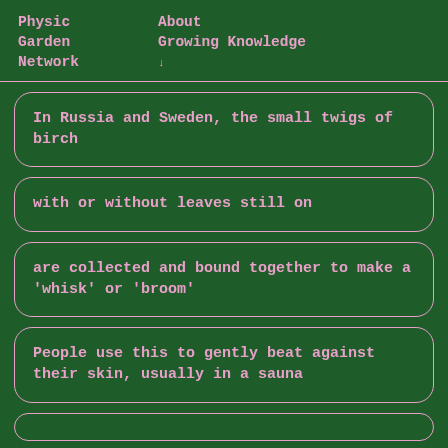Physic Garden Network   About   Growing Knowledge
In Russia and Sweden, the small twigs of birch
with or without leaves still on
are collected and bound together to make a 'whisk' or 'broom'
People use this to gently beat against their skin, usually in a sauna